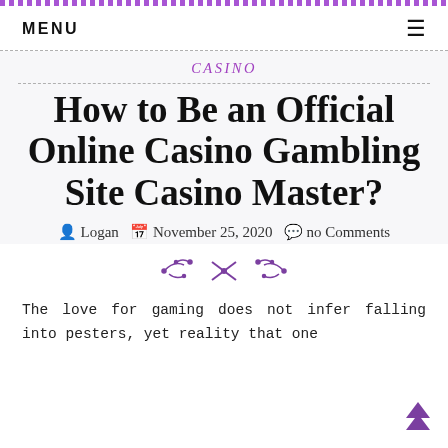MENU  ≡
CASINO
How to Be an Official Online Casino Gambling Site Casino Master?
Logan  November 25, 2020  no Comments
[Figure (illustration): Decorative floral/leaf ornament divider in purple]
The love for gaming does not infer falling into pesters, yet reality that one